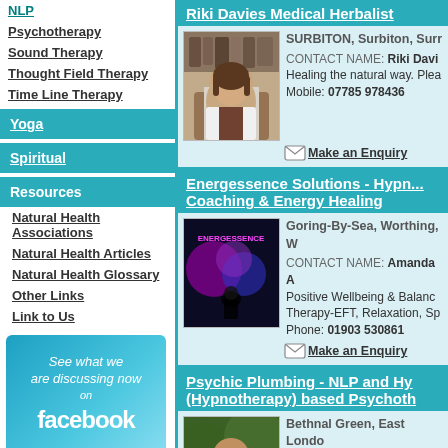NLP
Psychotherapy
Sound Therapy
Thought Field Therapy
Time Line Therapy
Yoga
Spiritual
Resources
Natural Health Associations
Natural Health Articles
Natural Health Glossary
Other Links
Link to Us
[Figure (illustration): Facebook promotional banner: 'See what we are discussing now on facebook']
[Figure (illustration): Two No.1 award badges]
Riki Davies Medical Herbalist
SURBITON, Surbiton, Surrey. CONTACT NAME: Riki Davies. Healing the natural way. Please... Mobile: 07785 978436
Make an Enquiry
Energessence Solutions - Hypno... Coaching & Energy Healing
Goring-By-Sea, Worthing, ... CONTACT NAME: Amanda ... Positive Wellbeing & Balance... Therapy-EFT, Relaxation, Sp... Phone: 01903 530861
Make an Enquiry
Psychic Plumbing - NLP and Hy... (Hypnotherapy) based Psychoth...
Bethnal Green, East Londo... CONTACT NAME: Psychic P... Richard is an experienced, in... Hypnosis based coaching / t... Phone: 020 7377 1918
Make an Enquiry